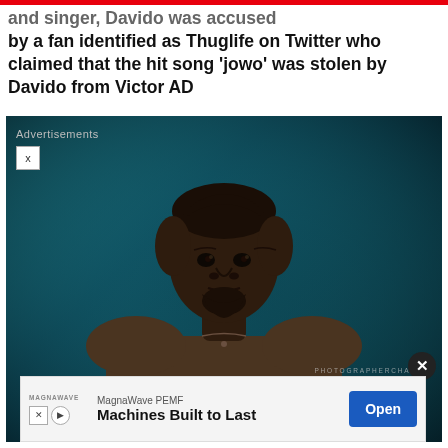and singer, Davido was accused by a fan identified as Thuglife on Twitter who claimed that the hit song 'jowo' was stolen by Davido from Victor AD
[Figure (photo): Portrait photo of a young Black man (Victor AD) wearing a brown/olive mandarin-collar outfit, against a dark teal background. An Advertisements overlay with close button is shown in the top-left. A photographer credit 'PHOTOGRAPHERCHARLIE' appears in the lower right. A close button circle appears at bottom right.]
[Figure (infographic): Advertisement banner at bottom: MagnaWave PEMF - Machines Built to Last, with Open button]